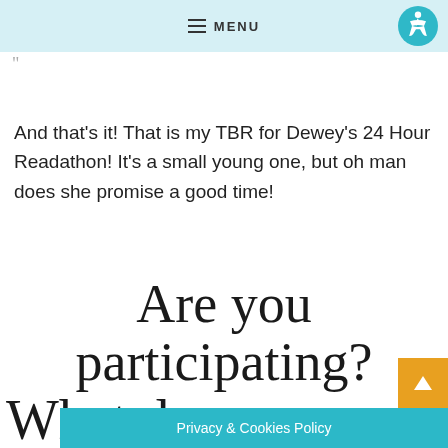MENU
And that's it! That is my TBR for Dewey's 24 Hour Readathon! It's a small young one, but oh man does she promise a good time!
Are you participating? What do you plan to read?!
Privacy & Cookies Policy